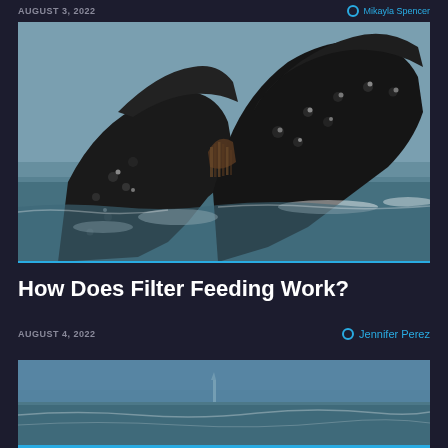AUGUST 3, 2022 | Mikayla Spencer
[Figure (photo): Two humpback whales lunge feeding at the ocean surface, showing their dark rostrum and baleen plates above the water]
How Does Filter Feeding Work?
AUGUST 4, 2022 | Jennifer Perez
[Figure (photo): Partial view of another ocean/marine photograph at the bottom of the page]